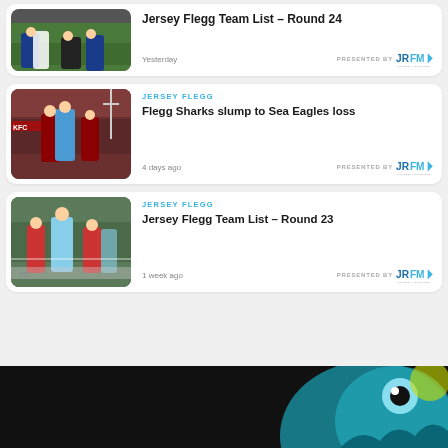[Figure (photo): Partial rugby league match photo - players in blue and white jerseys]
Jersey Flegg Team List – Round 24
Yesterday
[Figure (logo): JRFM logo - PRESENTED BY JRFM]
[Figure (photo): Rugby league match - players in maroon and blue/light jerseys tackling]
JERSEY FLEGG
Flegg Sharks slump to Sea Eagles loss
4 days ago
[Figure (logo): JRFM logo - PRESENTED BY JRFM]
[Figure (photo): Rugby league match - player in light blue jersey running with ball]
JERSEY FLEGG
Jersey Flegg Team List – Round 23
1 week ago
[Figure (logo): JRFM logo - PRESENTED BY JRFM]
[Figure (photo): Dark footer area with partial shark/mascot image]